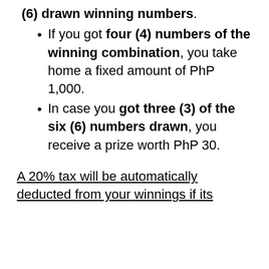(6) drawn winning numbers.
If you got four (4) numbers of the winning combination, you take home a fixed amount of PhP 1,000.
In case you got three (3) of the six (6) numbers drawn, you receive a prize worth PhP 30.
A 20% tax will be automatically deducted from your winnings if its